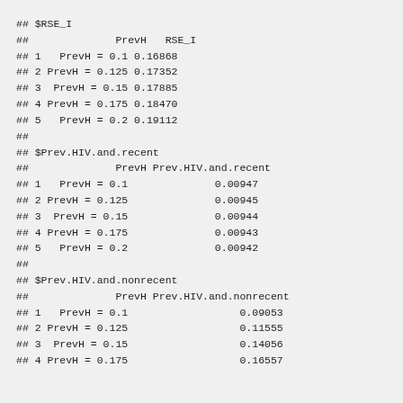## $RSE_I
##              PrevH   RSE_I
## 1   PrevH = 0.1 0.16868
## 2 PrevH = 0.125 0.17352
## 3  PrevH = 0.15 0.17885
## 4 PrevH = 0.175 0.18470
## 5   PrevH = 0.2 0.19112
##
## $Prev.HIV.and.recent
##              PrevH Prev.HIV.and.recent
## 1   PrevH = 0.1                0.00947
## 2 PrevH = 0.125                0.00945
## 3  PrevH = 0.15                0.00944
## 4 PrevH = 0.175                0.00943
## 5   PrevH = 0.2                0.00942
##
## $Prev.HIV.and.nonrecent
##              PrevH Prev.HIV.and.nonrecent
## 1   PrevH = 0.1                  0.09053
## 2 PrevH = 0.125                  0.11555
## 3  PrevH = 0.15                  0.14056
## 4 PrevH = 0.175                  0.16557